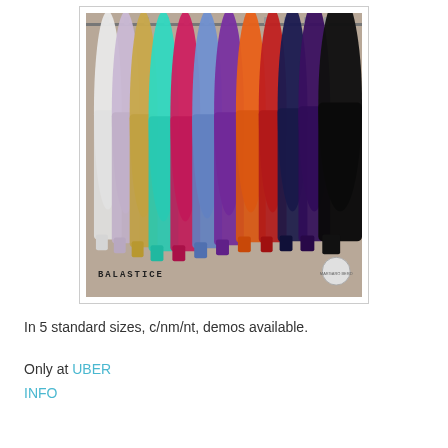[Figure (photo): Product photo showing multiple pairs of colorful leggings (white, lavender, gold, teal, pink/magenta, blue, purple, orange, red, dark navy, dark purple, black) hanging on a rod against a beige/taupe background. Brand name BALASTICE shown at bottom left with a circular logo at bottom right.]
In 5 standard sizes, c/nm/nt, demos available.
Only at UBER
INFO